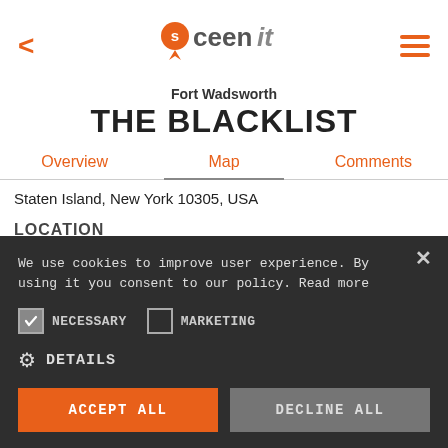[Figure (logo): Sceenit app logo with orange map pin and stylized text]
Fort Wadsworth
THE BLACKLIST
Overview   Map   Comments
Staten Island, New York 10305, USA
LOCATION
We use cookies to improve user experience. By using it you consent to our policy. Read more
NECESSARY   MARKETING
DETAILS
ACCEPT ALL   DECLINE ALL